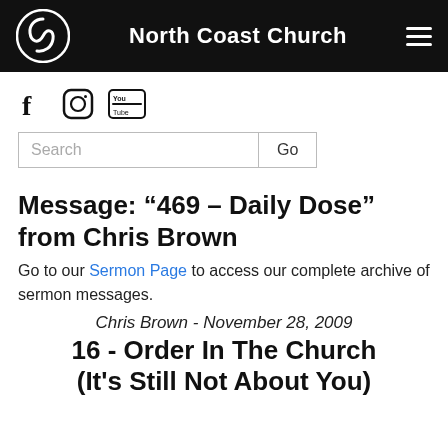North Coast Church
[Figure (logo): North Coast Church spiral logo and navigation header with hamburger menu]
[Figure (logo): Social media icons: Facebook (f), Instagram, YouTube]
Search  Go
Message: “469 – Daily Dose” from Chris Brown
Go to our Sermon Page to access our complete archive of sermon messages.
Chris Brown - November 28, 2009
16 - Order In The Church (It's Still Not About You)